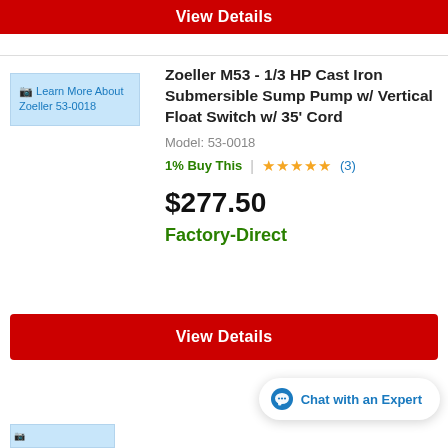View Details
[Figure (photo): Product image placeholder for Zoeller 53-0018 sump pump, shown as blue placeholder with alt text 'Learn More About Zoeller 53-0018']
Zoeller M53 - 1/3 HP Cast Iron Submersible Sump Pump w/ Vertical Float Switch w/ 35' Cord
Model: 53-0018
1% Buy This  |  ★★★★★ (3)
$277.50
Factory-Direct
View Details
Chat with an Expert